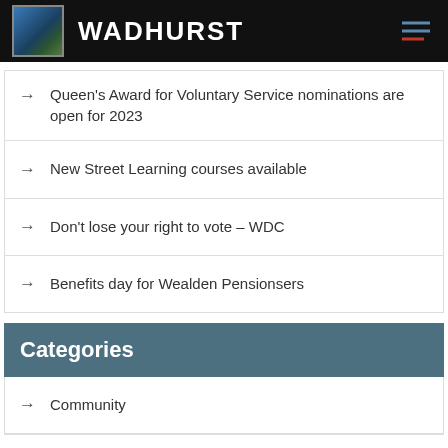WADHURST
Queen's Award for Voluntary Service nominations are open for 2023
New Street Learning courses available
Don't lose your right to vote – WDC
Benefits day for Wealden Pensionsers
Categories
Community